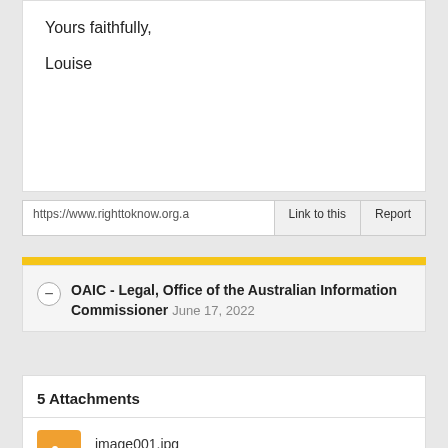Yours faithfully,

Louise
https://www.righttoknow.org.a
Link to this
Report
OAIC - Legal, Office of the Australian Information Commissioner June 17, 2022
5 Attachments
image001.jpg